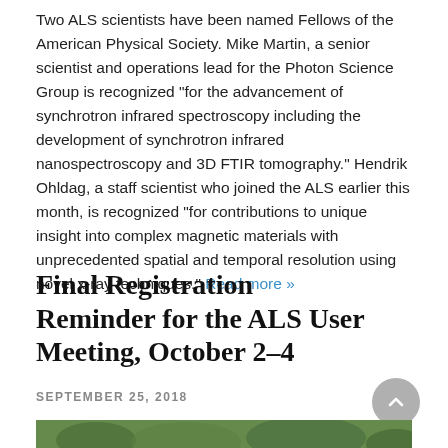Two ALS scientists have been named Fellows of the American Physical Society. Mike Martin, a senior scientist and operations lead for the Photon Science Group is recognized “for the advancement of synchrotron infrared spectroscopy including the development of synchrotron infrared nanospectroscopy and 3D FTIR tomography.” Hendrik Ohldag, a staff scientist who joined the ALS earlier this month, is recognized “for contributions to unique insight into complex magnetic materials with unprecedented spatial and temporal resolution using novel x-ray techniques.” Read more »
Final Registration Reminder for the ALS User Meeting, October 2–4
SEPTEMBER 25, 2018
[Figure (photo): Partial view of an outdoor photo showing green foliage, cropped at the bottom of the page]